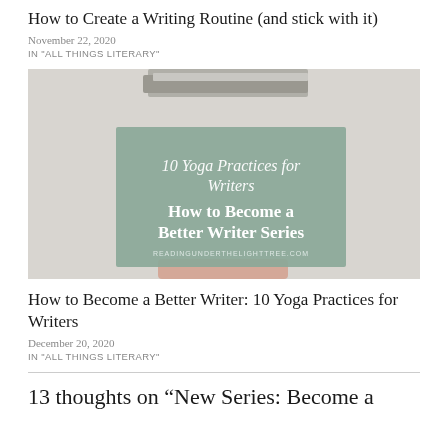How to Create a Writing Routine (and stick with it)
November 22, 2020
IN "ALL THINGS LITERARY"
[Figure (photo): Blog post thumbnail image showing a person holding books in front of their face. Overlaid is a sage green rectangle with text '10 Yoga Practices for Writers' and 'How to Become a Better Writer Series' and website URL 'readingunderthelighttree.com']
How to Become a Better Writer: 10 Yoga Practices for Writers
December 20, 2020
IN "ALL THINGS LITERARY"
13 thoughts on “New Series: Become a